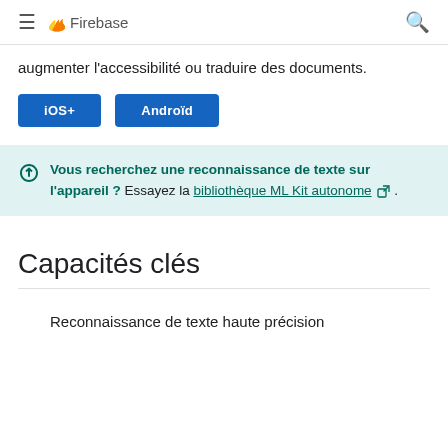Firebase
augmenter l'accessibilité ou traduire des documents.
iOS+
Android
Vous recherchez une reconnaissance de texte sur l'appareil ? Essayez la bibliothèque ML Kit autonome .
Capacités clés
Reconnaissance de texte haute précision